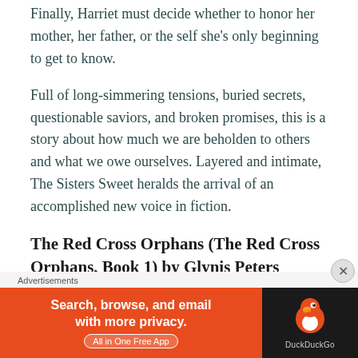Finally, Harriet must decide whether to honor her mother, her father, or the self she's only beginning to get to know.
Full of long-simmering tensions, buried secrets, questionable saviors, and broken promises, this is a story about how much we are beholden to others and what we owe ourselves. Layered and intimate, The Sisters Sweet heralds the arrival of an accomplished new voice in fiction.
The Red Cross Orphans (The Red Cross Orphans, Book 1) by Glynis Peters
Advertisements
[Figure (other): DuckDuckGo advertisement banner: orange left panel with text 'Search, browse, and email with more privacy. All in One Free App' and dark right panel with DuckDuckGo duck logo and brand name.]